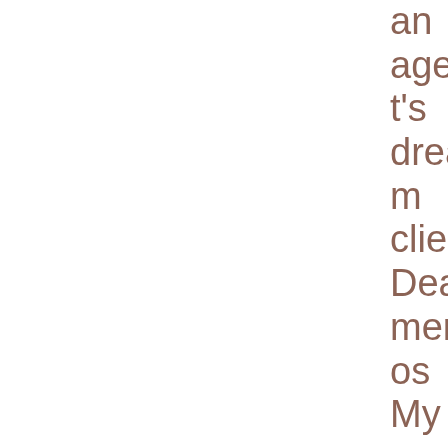an agent's dream client Deal memos My agent has asked me to send multiple copies of my manuscript —